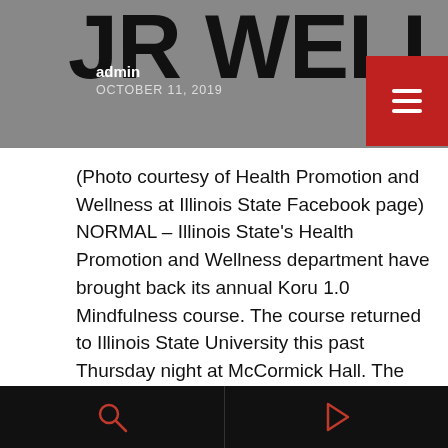JR WELLN — admin, OCTOBER 11, 2019
(Photo courtesy of Health Promotion and Wellness at Illinois State Facebook page) NORMAL – Illinois State's Health Promotion and Wellness department have brought back its annual Koru 1.0 Mindfulness course. The course returned to Illinois State University this past Thursday night at McCormick Hall. The four-week course's purpose is to help with learning about and [...]
[Figure (photo): Building photo with ISU NEWS and NEWS category tags, heart/like icon showing 2 likes]
Navigation bar with search and forward icons